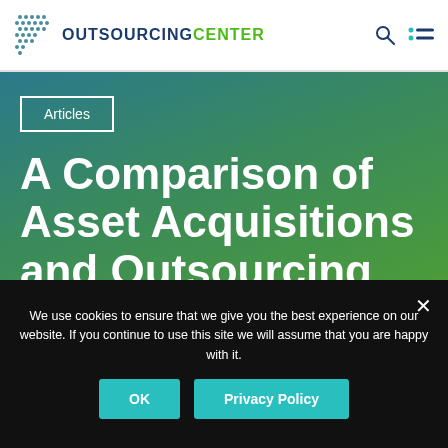OUTSOURCING CENTER
Articles
A Comparison of Asset Acquisitions and Outsourcing
LT NOW!
We use cookies to ensure that we give you the best experience on our website. If you continue to use this site we will assume that you are happy with it.
OK
Privacy Policy